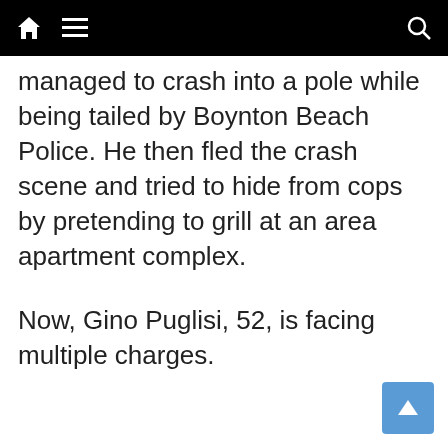[navigation bar with home, menu, and search icons]
managed to crash into a pole while being tailed by Boynton Beach Police. He then fled the crash scene and tried to hide from cops by pretending to grill at an area apartment complex.
Now, Gino Puglisi, 52, is facing multiple charges.